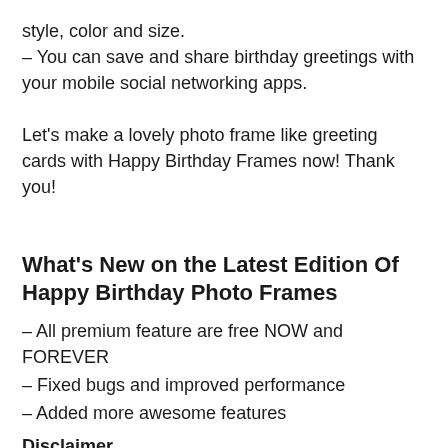style, color and size.
– You can save and share birthday greetings with your mobile social networking apps.
Let's make a lovely photo frame like greeting cards with Happy Birthday Frames now! Thank you!
What's New on the Latest Edition Of Happy Birthday Photo Frames
– All premium feature are free NOW and FOREVER
– Fixed bugs and improved performance
– Added more awesome features
Disclaimer
We are not claiming ownership of this app. Alos, we are not affiliated. Everythings of Happy Birthday Photo Frames app like SS, logo and trademarks etc are not our property